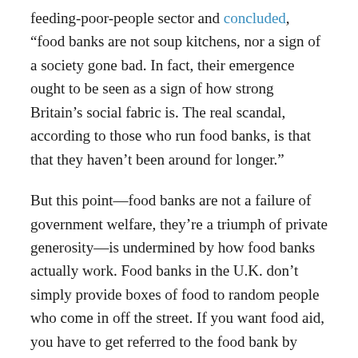feeding-poor-people sector and concluded, “food banks are not soup kitchens, nor a sign of a society gone bad. In fact, their emergence ought to be seen as a sign of how strong Britain’s social fabric is. The real scandal, according to those who run food banks, is that that they haven’t been around for longer.”
But this point—food banks are not a failure of government welfare, they’re a triumph of private generosity—is undermined by how food banks actually work. Food banks in the U.K. don’t simply provide boxes of food to random people who come in off the street. If you want food aid, you have to get referred to the food bank by charity case workers, “Job Centres” or social services agencies—the same people issuing (or